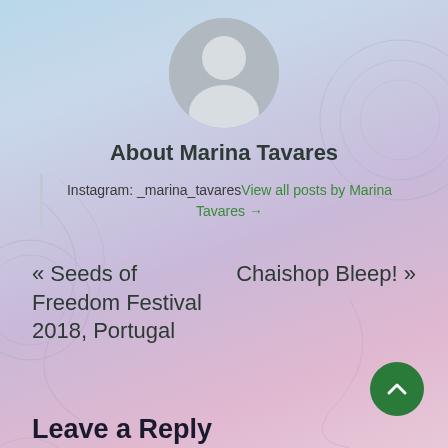[Figure (illustration): Gray circular avatar placeholder with silhouette of a person]
About Marina Tavares
Instagram: _marina_tavaresView all posts by Marina Tavares →
« Seeds of Freedom Festival 2018, Portugal
Chaishop Bleep! »
Leave a Reply
Your email address will not be published. Required fields are marked *